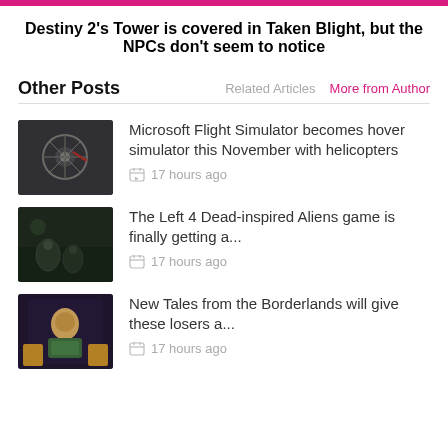Destiny 2's Tower is covered in Taken Blight, but the NPCs don't seem to notice
Other Posts
Related Articles   More from Author
[Figure (photo): Aerial/top-down view of a circular structure from Microsoft Flight Simulator]
Microsoft Flight Simulator becomes hover simulator this November with helicopters
17 hours ago
[Figure (photo): Dark moody scene with creatures from Aliens game]
The Left 4 Dead-inspired Aliens game is finally getting a...
17 hours ago
[Figure (photo): Character from New Tales from the Borderlands]
New Tales from the Borderlands will give these losers a...
17 hours ago